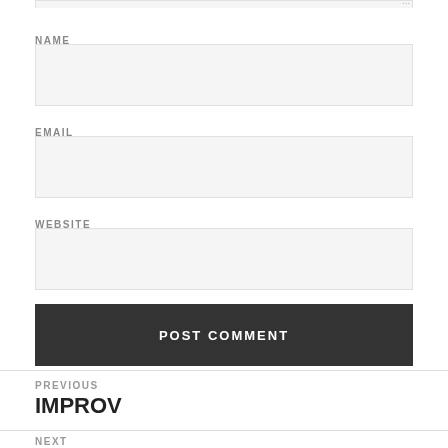[Figure (screenshot): Top portion of a textarea input with resize handle visible at top right]
NAME
[Figure (screenshot): Name input field (empty, light gray background)]
EMAIL
[Figure (screenshot): Email input field (empty, light gray background)]
WEBSITE
[Figure (screenshot): Website input field (empty, light gray background)]
POST COMMENT
PREVIOUS
IMPROV
NEXT